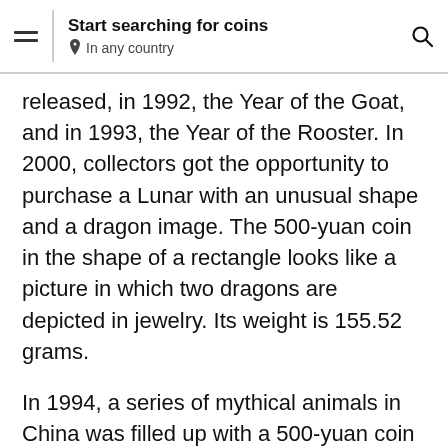Start searching for coins
In any country
released, in 1992, the Year of the Goat, and in 1993, the Year of the Rooster. In 2000, collectors got the opportunity to purchase a Lunar with an unusual shape and a dragon image. The 500-yuan coin in the shape of a rectangle looks like a picture in which two dragons are depicted in jewelry. Its weight is 155.52 grams.
In 1994, a series of mythical animals in China was filled up with a 500-yuan coin featuring a unicorn. The idea was so much liked by collectors that in subsequent years (1995 and 1996) specimens were minted with the same denomination, but with a different design. The surface of the new “Unicorns”